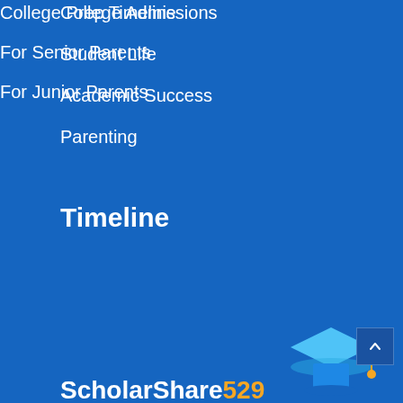College Admissions
Student Life
Academic Success
Parenting
Timeline
College Prep Timeline
For Senior Parents
For Junior Parents
[Figure (logo): ScholarShare 529 logo with graduation cap icon — 'ScholarShare' in white bold text and '529' in orange, with a blue graduation cap illustration to the right]